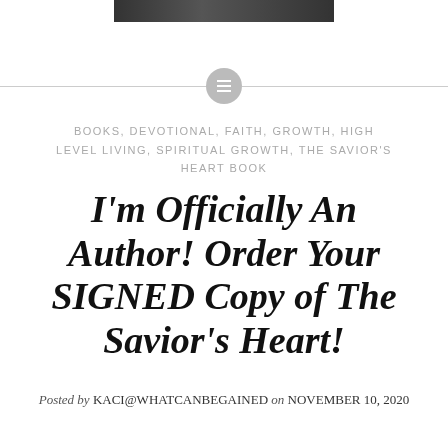[Figure (photo): Partial top image cropped at top of page, dark bar]
BOOKS, DEVOTIONAL, FAITH, GROWTH, HIGH LEVEL LIVING, SPIRITUAL GROWTH, THE SAVIOR'S HEART BOOK
I'm Officially An Author! Order Your SIGNED Copy of The Savior's Heart!
Posted by KACI@WHATCANBEGAINED on NOVEMBER 10, 2020